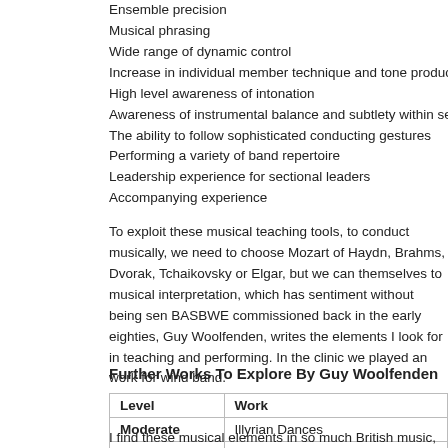Ensemble precision
Musical phrasing
Wide range of dynamic control
Increase in individual member technique and tone production
High level awareness of intonation
Awareness of instrumental balance and subtlety within sections & the band
The ability to follow sophisticated conducting gestures
Performing a variety of band repertoire
Leadership experience for sectional leaders
Accompanying experience
To exploit these musical teaching tools, to conduct musically, we need to choose Mozart of Haydn, Brahms, Dvorak, Tchaikovsky or Elgar, but we can themselves to musical interpretation, which has sentiment without being sen... BASBWE commissioned back in the early eighties, Guy Woolfenden, writes the elements I look for in teaching and performing. In the clinic we played an work for wind band.
Further Works To Explore By Guy Woolfenden
| Level | Work |
| --- | --- |
| Moderate | Illyrian Dances |
| Moderate | Mockbeggar Variations |
| Moderate | SPQR |
I find these musical elements in so much British music, in composers repres music of Martin Ellerby and Stephen McNeff, and in the music by a newcom